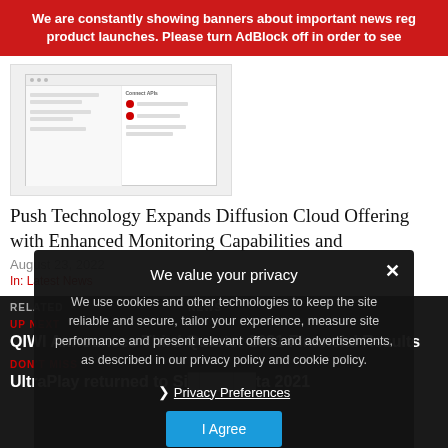We are constantly showing banners about important news reg... product launches. Please turn AdBlock off in order to see...
[Figure (screenshot): Screenshot thumbnail of a web interface showing a dashboard with API connections panel]
Push Technology Expands Diffusion Cloud Offering with Enhanced Monitoring Capabilities and
August 23, 2022
In: Latest News
RELATED ...  ... NEWS
UP NEXT
QIWI Announces Third Quarter 2021 Financial Results
DON'T MISS
UltraPlay returned to Si... ta 2021
We value your privacy
We use cookies and other technologies to keep the site reliable and secure, tailor your experience, measure site performance and present relevant offers and advertisements, as described in our privacy policy and cookie policy.
❯ Privacy Preferences
I Agree